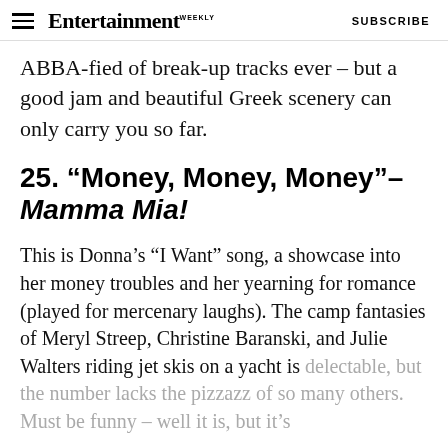Entertainment Weekly  SUBSCRIBE
ABBA-fied of break-up tracks ever – but a good jam and beautiful Greek scenery can only carry you so far.
25. “Money, Money, Money” – Mamma Mia!
This is Donna’s “I Want” song, a showcase into her money troubles and her yearning for romance (played for mercenary laughs). The camp fantasies of Meryl Streep, Christine Baranski, and Julie Walters riding jet skis on a yacht is delectable, but the number lacks the pizzazz of so many others. Must be funny – well it is, but it’s